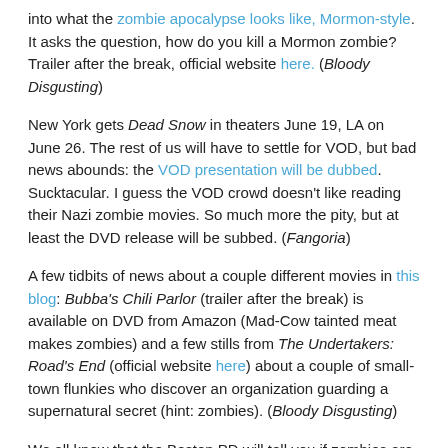into what the zombie apocalypse looks like, Mormon-style. It asks the question, how do you kill a Mormon zombie? Trailer after the break, official website here. (Bloody Disgusting)
New York gets Dead Snow in theaters June 19, LA on June 26. The rest of us will have to settle for VOD, but bad news abounds: the VOD presentation will be dubbed. Sucktacular. I guess the VOD crowd doesn't like reading their Nazi zombie movies. So much more the pity, but at least the DVD release will be subbed. (Fangoria)
A few tidbits of news about a couple different movies in this blog: Bubba's Chili Parlor (trailer after the break) is available on DVD from Amazon (Mad-Cow tainted meat makes zombies) and a few stills from The Undertakers: Road's End (official website here) about a couple of small-town flunkies who discover an organization guarding a supernatural secret (hint: zombies). (Bloody Disgusting)
We all know that the Boston PD will tell you if zombies are coming, but what about your town? One enterprising reporter endeavored to find out (hint: New Yorkers, you are fucked). (ComicMix)
Interview with John Russo